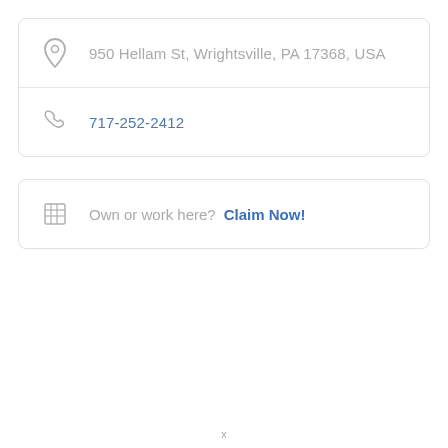950 Hellam St, Wrightsville, PA 17368, USA
717-252-2412
Own or work here? Claim Now!